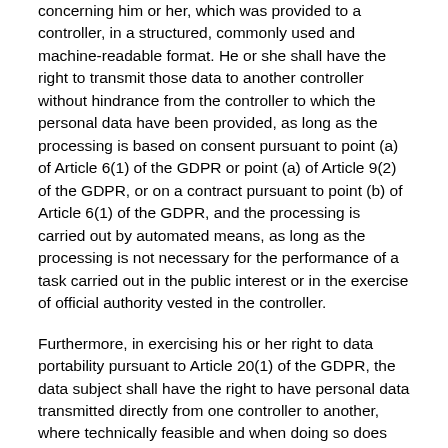concerning him or her, which was provided to a controller, in a structured, commonly used and machine-readable format. He or she shall have the right to transmit those data to another controller without hindrance from the controller to which the personal data have been provided, as long as the processing is based on consent pursuant to point (a) of Article 6(1) of the GDPR or point (a) of Article 9(2) of the GDPR, or on a contract pursuant to point (b) of Article 6(1) of the GDPR, and the processing is carried out by automated means, as long as the processing is not necessary for the performance of a task carried out in the public interest or in the exercise of official authority vested in the controller.
Furthermore, in exercising his or her right to data portability pursuant to Article 20(1) of the GDPR, the data subject shall have the right to have personal data transmitted directly from one controller to another, where technically feasible and when doing so does not adversely affect the rights and freedoms of others.
In order to assert the right to data portability, the data subject may at any time contact the Data Protection Officer designated by the Maria-Zentrum für Kunst und...